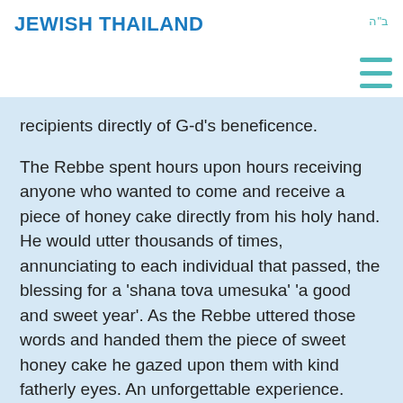JEWISH THAILAND
ב"ה
recipients directly of G-d's beneficence.
The Rebbe spent hours upon hours receiving anyone who wanted to come and receive a piece of honey cake directly from his holy hand. He would utter thousands of times, annunciating to each individual that passed, the blessing for a 'shana tova umesuka' 'a good and sweet year'. As the Rebbe uttered those words and handed them the piece of sweet honey cake he gazed upon them with kind fatherly eyes. An unforgettable experience.